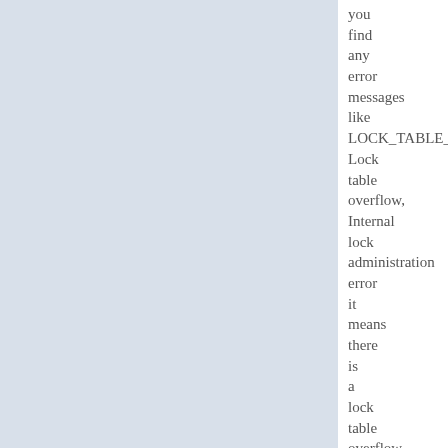you find any error messages like LOCK_TABLE_OVERFLOW Lock table overflow, Internal lock administration error it means there is a lock table overflow issue.
increase